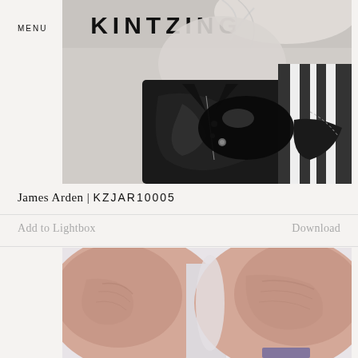MENU
[Figure (photo): Black and white close-up photograph of a person wearing a leather jacket, showing chest and collar area. Brand name KINTZING appears at the top.]
James Arden | KZJAR10005
Add to Lightbox
Download
[Figure (photo): Close-up color photograph showing skin texture, likely knuckles or elbows, against a light background.]